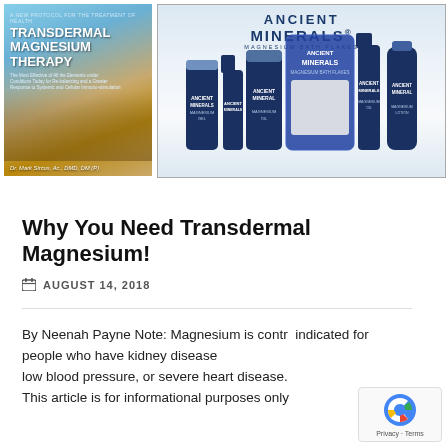[Figure (photo): Book cover for 'Transdermal Magnesium Therapy' by Dr. Mark Sircus, Ac., DMD, DM (P), with a beach/rocks background and sky]
[Figure (photo): Ancient Minerals product lineup including magnesium gel tubes, spray bottles, bath flakes bag, and lotion bottles on white background]
Why You Need Transdermal Magnesium!
AUGUST 14, 2018
By Neenah Payne Note: Magnesium is contraindicated for people who have kidney disease, low blood pressure, or severe heart disease. This article is for informational purposes only